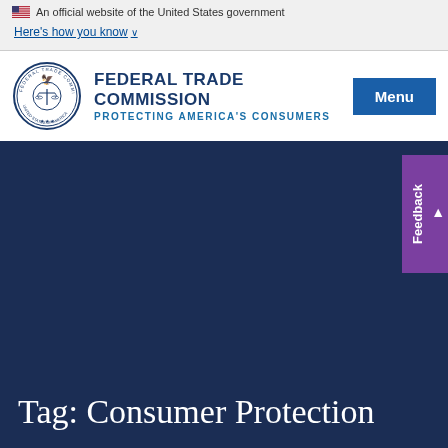An official website of the United States government
Here's how you know
[Figure (logo): Federal Trade Commission seal and logo with text: FEDERAL TRADE COMMISSION, PROTECTING AMERICA'S CONSUMERS]
Menu
Tag: Consumer Protection